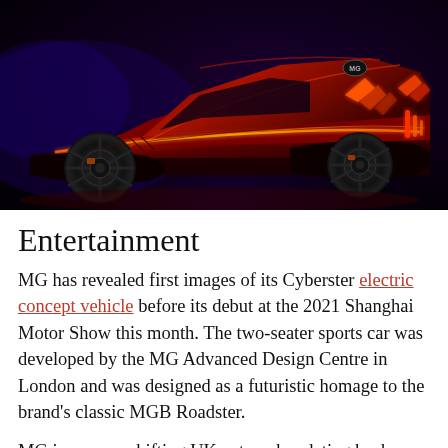[Figure (photo): A dramatic rear three-quarter view of the MG Cyberster electric concept car, rendered in dark red/crimson with glowing orange accent lines along the body. The car features large black wheels, chevron/arrow light signatures on the rear, and the MG logo. The background is deep dark blue-purple, giving a nighttime atmosphere.]
Entertainment
MG has revealed first images of its Cyberster electric concept vehicle before its debut at the 2021 Shanghai Motor Show this month. The two-seater sports car was developed by the MG Advanced Design Centre in London and was designed as a futuristic homage to the brand's classic MGB Roadster.
MG is an ever-shifting UK automaker dating back